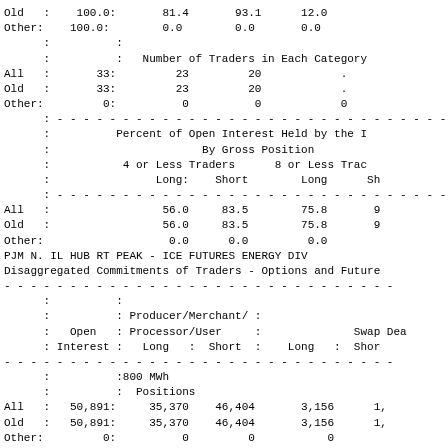|  |  | 81.4 / 0.0 | 93.1 / 0.0 | 12.0 / 0.0 |
| --- | --- | --- | --- | --- |
| Old | 100.0: | 81.4 | 93.1 | 12.0 |
| Other: | 100.0: | 0.0 | 0.0 | 0.0 |
|  | : |  |  |  |
|  | : | Number of Traders in Each Category |  |  |
| All | 33: | 23 | 20 | . |
| Old | 33: | 23 | 20 | . |
| Other: | 0: | 0 | 0 | 0 |
|  |  | 4 or Less Traders Long: | Short | 8 or Less Trad Long | Sh |
| --- | --- | --- | --- | --- | --- |
|  | : | Percent of Open Interest Held by the ... |  |  |  |
|  | : | By Gross Position |  |  |  |
| All | : | 56.0 | 83.5 | 75.8 | 9... |
| Old | : | 56.0 | 83.5 | 75.8 | 9... |
| Other: |  | 0.0 | 0.0 | 0.0 |  |
PJM N. IL HUB RT PEAK - ICE FUTURES ENERGY DIV
Disaggregated Commitments of Traders - Options and Future...
|  | Open Interest | Producer/Merchant/ Processor/User Long | Short | Long | Swap Dea Short |
| --- | --- | --- | --- | --- | --- |
|  | :800 MWh | Positions |  |  |  |
| All | 50,891: | 35,370 | 46,404 | 3,156 | 1,... |
| Old | 50,891: | 35,370 | 46,404 | 3,156 | 1,... |
| Other: | 0: | 0 | 0 | 0 |  |